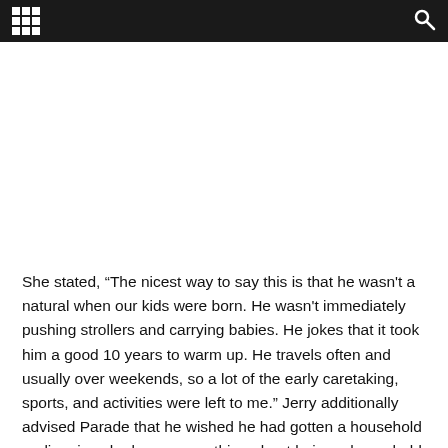[navigation bar with grid icon and search icon]
She stated, “The nicest way to say this is that he wasn't a natural when our kids were born. He wasn't immediately pushing strollers and carrying babies. He jokes that it took him a good 10 years to warm up. He travels often and usually over weekends, so a lot of the early caretaking, sports, and activities were left to me.” Jerry additionally advised Parade that he wished he had gotten a household earlier since he loves every thing about being a household man. He said, “There is no aspect of it I don’t like. Even